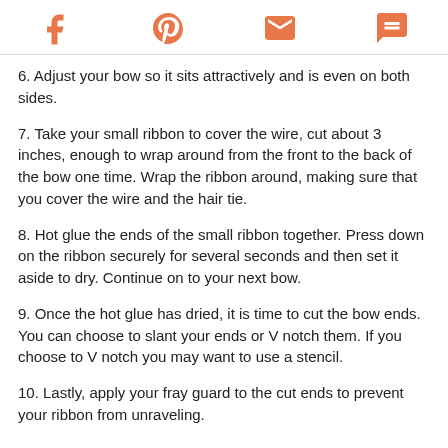[Social share icons: Facebook, Pinterest, Email, Chat]
6. Adjust your bow so it sits attractively and is even on both sides.
7. Take your small ribbon to cover the wire, cut about 3 inches, enough to wrap around from the front to the back of the bow one time. Wrap the ribbon around, making sure that you cover the wire and the hair tie.
8. Hot glue the ends of the small ribbon together. Press down on the ribbon securely for several seconds and then set it aside to dry. Continue on to your next bow.
9. Once the hot glue has dried, it is time to cut the bow ends. You can choose to slant your ends or V notch them. If you choose to V notch you may want to use a stencil.
10. Lastly, apply your fray guard to the cut ends to prevent your ribbon from unraveling.